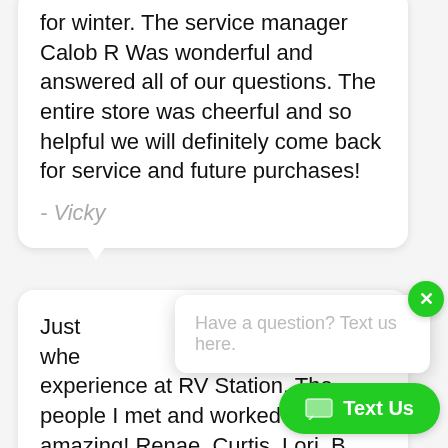for winter. The service manager Calob R Was wonderful and answered all of our questions. The entire store was cheerful and so helpful we will definitely come back for service and future purchases!
- Vicky
Just whe experience at RV Station. The people I met and worked with amazing! Renae, Curtis, Lori, B Jim were a pleasure to work with. I
Have a question? Text us here.